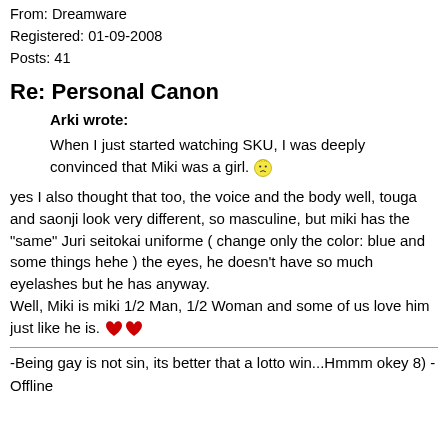From: Dreamware
Registered: 01-09-2008
Posts: 41
Re: Personal Canon
Arki wrote:

When I just started watching SKU, I was deeply convinced that Miki was a girl. 😕
yes I also thought that too, the voice and the body well, touga and saonji look very different, so masculine, but miki has the "same" Juri seitokai uniforme ( change only the color: blue and some things hehe ) the eyes, he doesn't have so much eyelashes but he has anyway.
Well, Miki is miki 1/2 Man, 1/2 Woman and some of us love him just like he is. ❤❤
-Being gay is not sin, its better that a lotto win...Hmmm okey 8) -
Offline